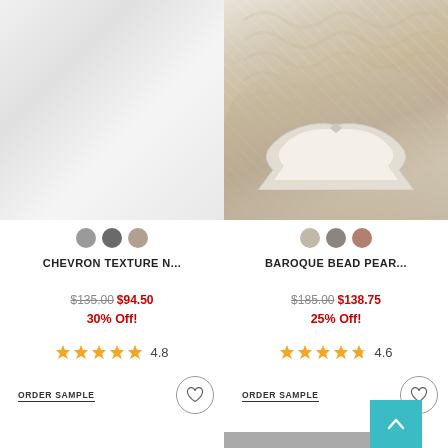[Figure (photo): Left product photo: light grey/white textured wallpaper room scene]
[Figure (photo): Right product photo: baroque pearl beadwork wallpaper in elegant bedroom with ornate white bed frame and cream/taupe pillows]
CHEVRON TEXTURE N...
$135.00 $94.50
30% Off!
4.8
ORDER SAMPLE
BAROQUE BEAD PEAR...
$185.00 $138.75
25% Off!
4.6
ORDER SAMPLE